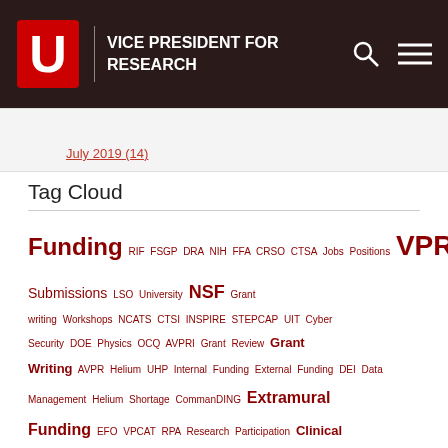VICE PRESIDENT FOR RESEARCH
July 2019 (14)
Tag Cloud
Funding RIF FSGP DRA NIH FFA CRSO CTSA Jobs Positions VPR Limited Submissions LSO University NSF Grant writing Workshops NCATS CTSI INSPIRE STEPCAP UIT Cyber Security DOE Physics OCQ AVPRI Grant Review Grant Writing AVPR Helium UHP Internal Funding External Funding DEI Data Management Helium Shortage CommanDING Extramural Funding EFO VPCAT RPA Research Participation Clinical Research Quality Assurance Corporate Funding Policies PAC-12 Student Athletes Pathology Training Pre-Doctoral Post-Doctoral ENGINES Pivot Center Entrepreneurs VP-NSF Cohort Grant Development CBR Community NEH Summer Stipends Keck Foundations Convergence Town Hall SEED2SOIL Chiesi RFP PIVOT Center Office 365 U2M2 REACH Mentoring REDI SC Security Software STARS TL1 Grants Conference FY22 DOJ Domestic Violence Doctoral Mentors Graduate School ARIS Research Corporate CIVIC